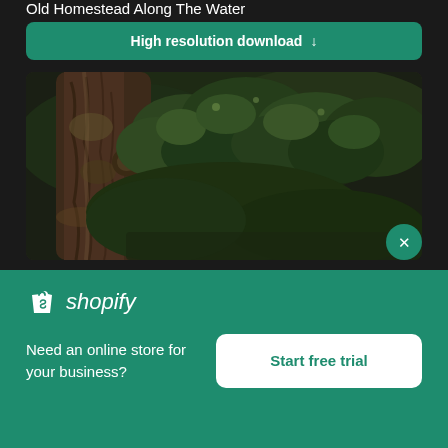Old Homestead Along The Water
High resolution download ↓
[Figure (photo): Close-up photo of a tree trunk with dense green pine/fir foliage in the background, dark moody tones]
[Figure (logo): Shopify logo — shopping bag icon and italic 'shopify' text in white on green background]
Need an online store for your business?
Start free trial